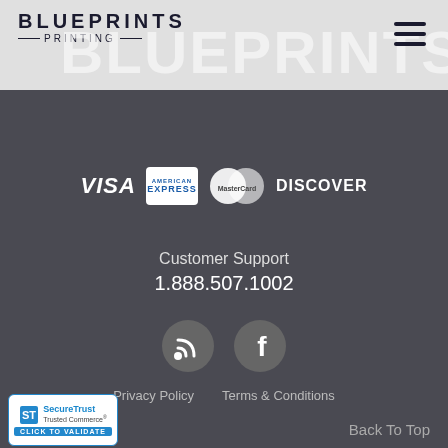[Figure (logo): Blueprints Printing logo with large background text BLUEPRINTS and hamburger menu icon on the right]
PRINTING
[Figure (infographic): Payment method logos: VISA, American Express, MasterCard, Discover]
Customer Support
1.888.507.1002
[Figure (infographic): RSS feed icon and Facebook icon in grey circles]
Privacy Policy   Terms & Conditions
[Figure (logo): SecureTrust Trusted Commerce - Click to Validate badge]
Back To Top